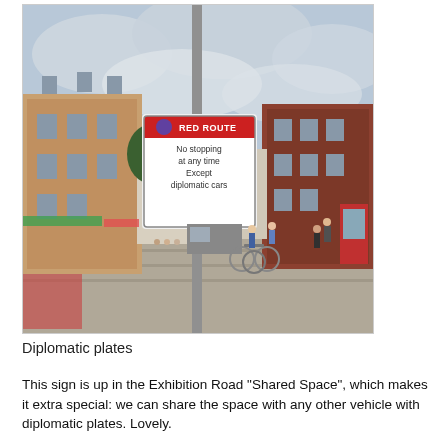[Figure (photo): Photograph of a London street scene showing a Red Route sign on a pole reading 'No stopping at any time Except diplomatic cars', with Victorian-era brick buildings in the background and pedestrians on the pavement.]
Diplomatic plates
This sign is up in the Exhibition Road "Shared Space", which makes it extra special: we can share the space with any other vehicle with diplomatic plates. Lovely.